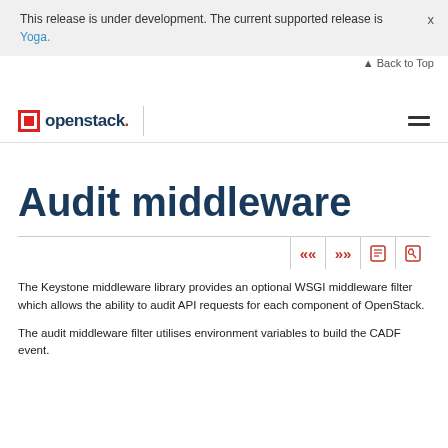This release is under development. The current supported release is Yoga.
openstack.
Audit middleware
The Keystone middleware library provides an optional WSGI middleware filter which allows the ability to audit API requests for each component of OpenStack.
The audit middleware filter utilises environment variables to build the CADF event.